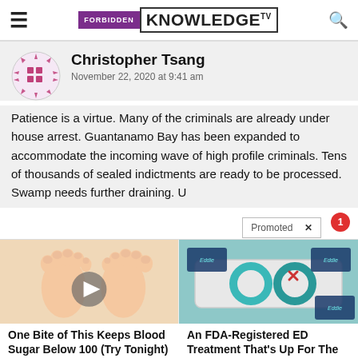FORBIDDEN KNOWLEDGE TV
Christopher Tsang
November 22, 2020 at 9:41 am
Patience is a virtue. Many of the criminals are already under house arrest. Guantanamo Bay has been expanded to accommodate the incoming wave of high profile criminals. Tens of thousands of sealed indictments are ready to be processed. Swamp needs further draining. U
Promoted ×
[Figure (photo): Illustration of feet/toes with a video play button overlay]
One Bite of This Keeps Blood Sugar Below 100 (Try Tonight)
Watch The Video
[Figure (photo): Photo of teal/turquoise rings on a display tray with Eddie branding]
An FDA-Registered ED Treatment That's Up For The Challenge
Find Out More